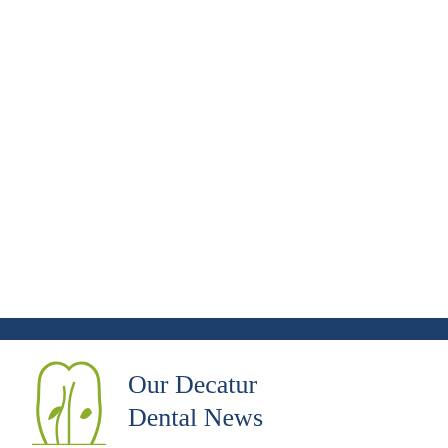[Figure (logo): Olive green tooth/leaf logo icon for Our Decatur Dental News]
Our Decatur Dental News